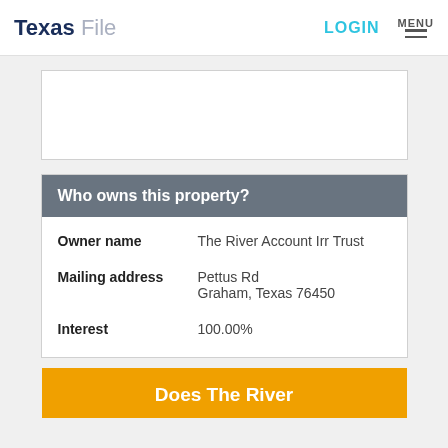Texas File | LOGIN | MENU
[Figure (other): Advertisement banner placeholder box]
Who owns this property?
| Owner name | The River Account Irr Trust |
| Mailing address | Pettus Rd
Graham, Texas 76450 |
| Interest | 100.00% |
Does The River